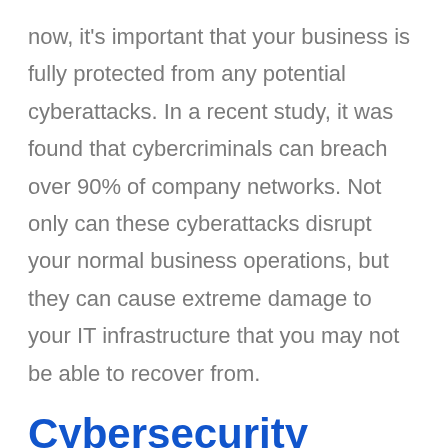now, it's important that your business is fully protected from any potential cyberattacks. In a recent study, it was found that cybercriminals can breach over 90% of company networks. Not only can these cyberattacks disrupt your normal business operations, but they can cause extreme damage to your IT infrastructure that you may not be able to recover from.
Cybersecurity Training: 4 Easy Steps You Can Take to Protect Your Business